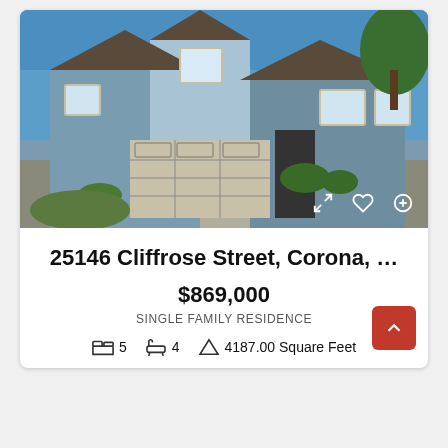[Figure (photo): Exterior photo of a two-story single family residence with blue/gray siding, white trim, two-car garage door, front porch, and trees in background]
25146 Cliffrose Street, Corona, …
$869,000
SINGLE FAMILY RESIDENCE
5  4  4187.00 Square Feet